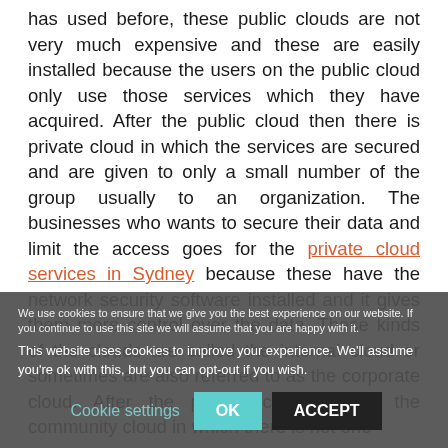has used before, these public clouds are not very much expensive and these are easily installed because the users on the public cloud only use those services which they have acquired. After the public cloud then there is private cloud in which the services are secured and are given to only a small number of the group usually to an organization. The businesses who wants to secure their data and limit the access goes for the private cloud services in Sydney because these have the network security software installed and it gives them more control over the data. These kinds of the clouds are called the internal cloud or sometimes are also referred to as the corporate cloud. After the private cloud comes the community cloud in which there is not one
This website uses cookies to improve your experience. We'll assume you're ok with this, but you can opt-out if you wish.
We use cookies to ensure that we give you the best experience on our website. If you continue to use this site we will assume that you are happy with it.